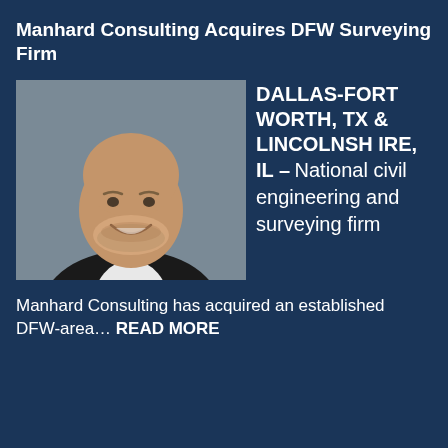Manhard Consulting Acquires DFW Surveying Firm
[Figure (photo): Headshot of a bald man with a beard wearing a black blazer and white shirt, smiling, against a gray background.]
DALLAS-FORT WORTH, TX & LINCOLNSHIRE, IL – National civil engineering and surveying firm Manhard Consulting has acquired an established DFW-area… READ MORE